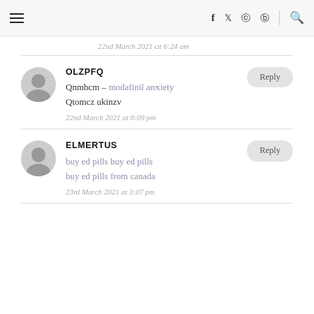Navigation header with hamburger menu, social icons (f, twitter, instagram, pinterest), and search icon
22nd March 2021 at 6:24 am
OLZPFQ — Qnmbcm – modafinil anxiety Qtomcz ukinzv — 22nd March 2021 at 8:09 pm
ELMERTUS — buy ed pills buy ed pills buy ed pills from canada — 23rd March 2021 at 3:07 pm